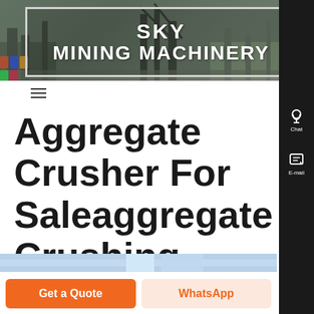[Figure (photo): Sky Mining Machinery website header banner with industrial mining equipment in the background and company name overlay with white border box]
SKY MINING MACHINERY
Aggregate Crusher For Saleaggregate Crushing Process India
[Figure (photo): Partial bottom image strip showing industrial/mining equipment in blue tones]
Get a Quote
WhatsApp
Chat
E-mail